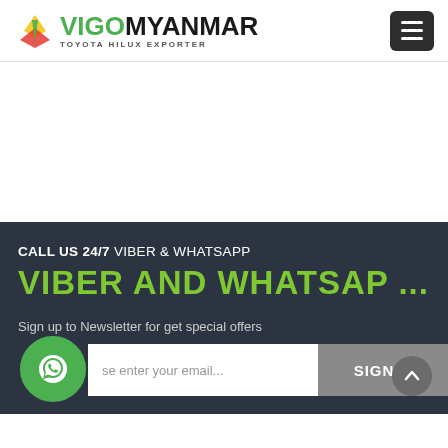[Figure (logo): VigoMyanmar Toyota Hilux Exporter logo with star icon and green/black text]
CALL US 24/7 VIBER & WHATSAPP
VIBER AND WHATSAP ...
Sign up to Newsletter for get special offers
[Figure (screenshot): Email signup form with input field and SIGN UP button, WhatsApp bubble icon on left, scroll-to-top button on right]